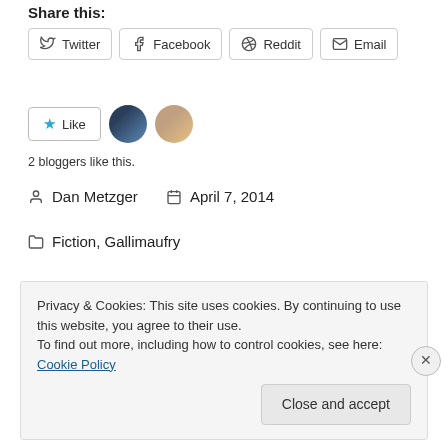Share this:
Twitter | Facebook | Reddit | Email (share buttons)
[Figure (other): Like button with star icon and two blogger avatars]
2 bloggers like this.
Dan Metzger   April 7, 2014
Fiction, Gallimaufry
commute, creative writing, Fiction, friends, life, memory, past, strangers, travel
Privacy & Cookies: This site uses cookies. By continuing to use this website, you agree to their use.
To find out more, including how to control cookies, see here:
Cookie Policy
Close and accept